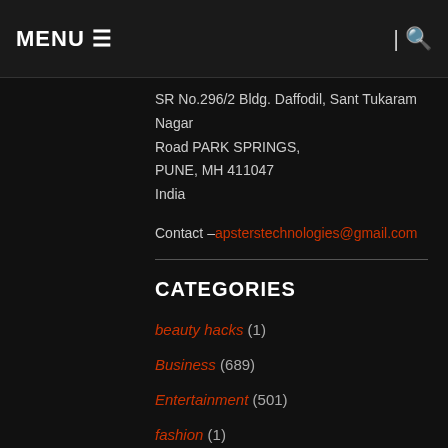MENU ≡  | 🔍
SR No.296/2 Bldg. Daffodil, Sant Tukaram Nagar Road PARK SPRINGS,
PUNE, MH 411047
India
Contact – apsterstechnologies@gmail.com
CATEGORIES
beauty hacks (1)
Business (689)
Entertainment (501)
fashion (1)
Healthcare (335)
horoscope (1)
Indian Festival Nagpanchami (2)